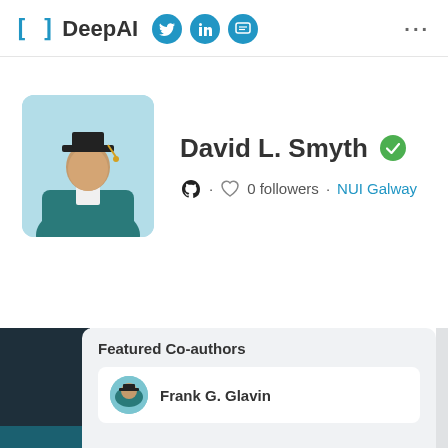[ ] DeepAI · Twitter · LinkedIn · Chat
[Figure (screenshot): DeepAI profile page for David L. Smyth with avatar of graduation figure on light blue background, verified badge, 0 followers, NUI Galway affiliation, and Featured Co-authors panel showing Frank G. Glavin]
David L. Smyth
0 followers · NUI Galway
Featured Co-authors
Frank G. Glavin